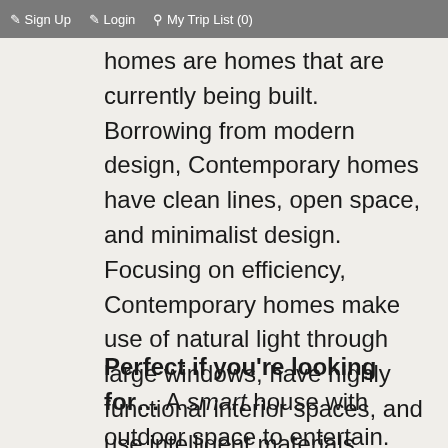Sign Up   Login   My Trip List (0)
homes are homes that are currently being built. Borrowing from modern design, Contemporary homes have clean lines, open space, and minimalist design. Focusing on efficiency, Contemporary homes make use of natural light through large windows, have highly functional interior spaces, and use intelligent materials.
Perfect if you're looking for... A smart house with outdoor space to entertain.